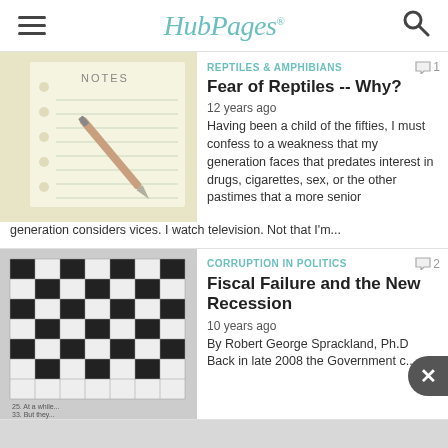HubPages
REPTILES & AMPHIBIANS
Fear of Reptiles -- Why?
12 years ago
Having been a child of the fifties, I must confess to a weakness that my generation faces that predates interest in drugs, cigarettes, sex, or the other pastimes that a more senior generation considers vices. I watch television. Not that I'm...
[Figure (photo): Photo of a notebook with ruled paper and a pen lying on it, with 'NOTES' printed at the top]
CORRUPTION IN POLITICS
Fiscal Failure and the New Recession
10 years ago
By Robert George Sprackland, Ph.D. Back in late 2008 the Government c...
[Figure (photo): Close-up black and white photo of a crossword puzzle]